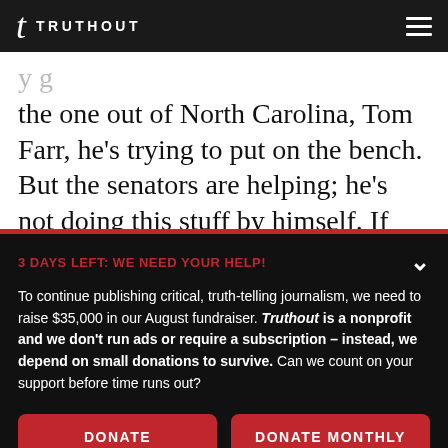TRUTHOUT
the one out of North Carolina, Tom Farr, he's trying to put on the bench. But the senators are helping; he's not doing this stuff by himself. If
3 DAYS LEFT: WE NEED YOUR HELP!
To continue publishing critical, truth-telling journalism, we need to raise $35,000 in our August fundraiser. Truthout is a nonprofit and we don't run ads or require a subscription – instead, we depend on small donations to survive. Can we count on your support before time runs out?
DONATE
DONATE MONTHLY